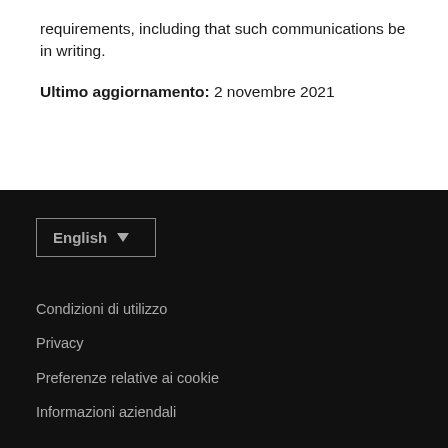requirements, including that such communications be in writing.
Ultimo aggiornamento: 2 novembre 2021
English ▼
Condizioni di utilizzo
Privacy
Preferenze relative ai cookie
Informazioni aziendali